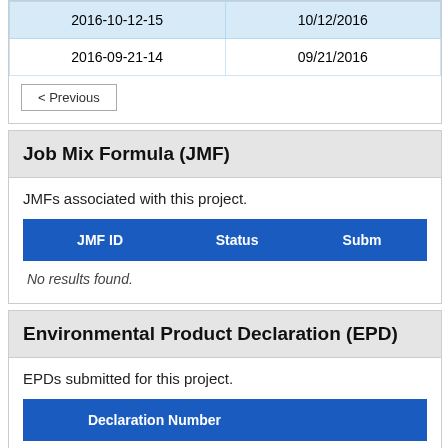|  |  |
| --- | --- |
| 2016-10-12-15 | 10/12/2016 |
| 2016-09-21-14 | 09/21/2016 |
< Previous
Job Mix Formula (JMF)
JMFs associated with this project.
| JMF ID | Status | Subm... |
| --- | --- | --- |
| No results found. |  |  |
Environmental Product Declaration (EPD)
EPDs submitted for this project.
| Declaration Number |  |
| --- | --- |